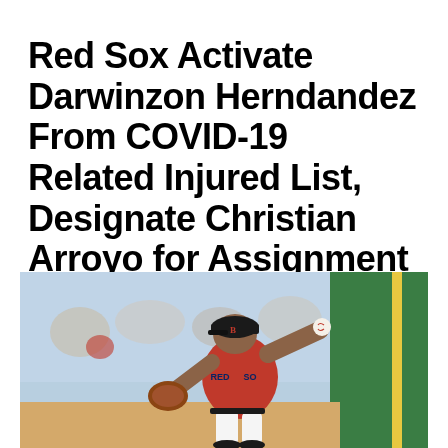Red Sox Activate Darwinzon Herndandez From COVID-19 Related Injured List, Designate Christian Arroyo for Assignment
[Figure (photo): A Red Sox pitcher in a red uniform winding up to throw a pitch during a baseball game. The player is mid-delivery, wearing a black cap with the 'B' logo and a red jersey that reads 'RED SOX'. A green outfield wall is visible in the background along with out-of-focus spectators in the stands.]